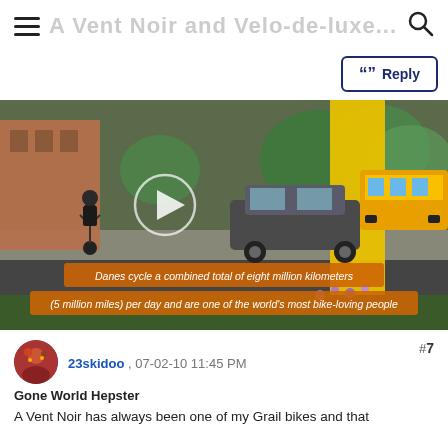A Vent Noir and Velo-de-luxe...
[Figure (screenshot): Reply button with quotation mark icon, bordered in dark blue]
[Figure (photo): Street scene with cyclist, yellow pillar, bus, and cars. Video player overlay with play button. Caption text: 'Danes cycle a combined total of eight million kilometers (5 million miles) per day and are one of the world's most bike-loving people']
#7
23skidoo , 07-02-10 11:45 PM
Gone World Hepster
A Vent Noir has always been one of my Grail bikes and that